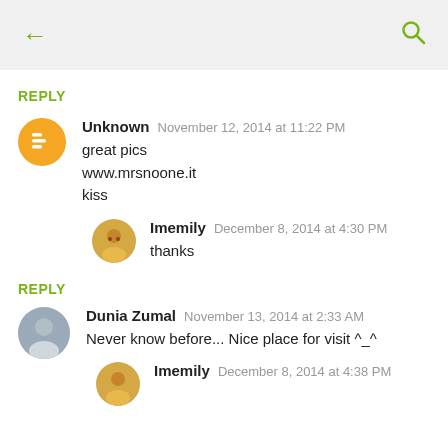[Figure (screenshot): Mobile app top bar with back arrow and search icon]
REPLY
Unknown  November 12, 2014 at 11:22 PM
great pics
www.mrsnoone.it
kiss
Imemily  December 8, 2014 at 4:30 PM
thanks
REPLY
Dunia Zumal  November 13, 2014 at 2:33 AM
Never know before... Nice place for visit ^_^
Imemily  December 8, 2014 at 4:38 PM